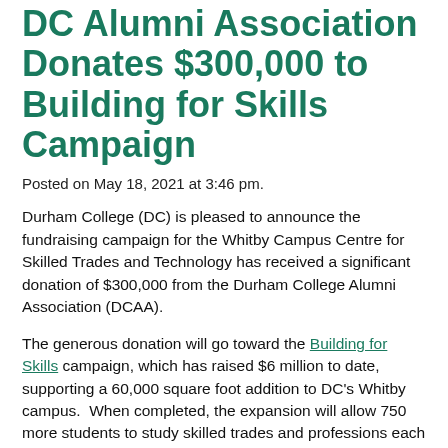DC Alumni Association Donates $300,000 to Building for Skills Campaign
Posted on May 18, 2021 at 3:46 pm.
Durham College (DC) is pleased to announce the fundraising campaign for the Whitby Campus Centre for Skilled Trades and Technology has received a significant donation of $300,000 from the Durham College Alumni Association (DCAA).
The generous donation will go toward the Building for Skills campaign, which has raised $6 million to date, supporting a 60,000 square foot addition to DC's Whitby campus.  When completed, the expansion will allow 750 more students to study skilled trades and professions each year.
"The DCAA is supporting this expansion because we